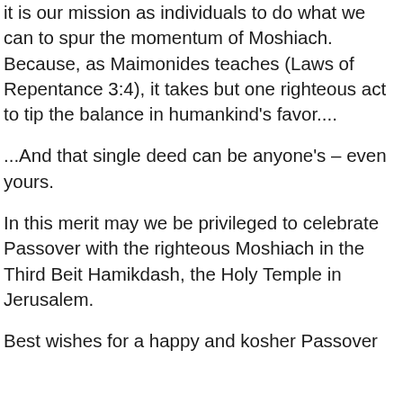it is our mission as individuals to do what we can to spur the momentum of Moshiach. Because, as Maimonides teaches (Laws of Repentance 3:4), it takes but one righteous act to tip the balance in humankind's favor....
...And that single deed can be anyone's – even yours.
In this merit may we be privileged to celebrate Passover with the righteous Moshiach in the Third Beit Hamikdash, the Holy Temple in Jerusalem.
Best wishes for a happy and kosher Passover